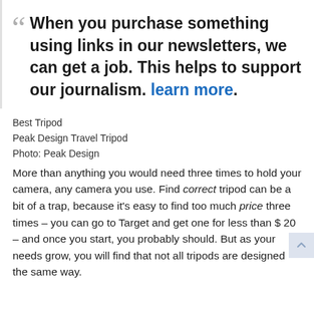When you purchase something using links in our newsletters, we can get a job. This helps to support our journalism. learn more.
Best Tripod
Peak Design Travel Tripod
Photo: Peak Design
More than anything you would need three times to hold your camera, any camera you use. Find correct tripod can be a bit of a trap, because it’s easy to find too much price three times – you can go to Target and get one for less than $ 20 – and once you start, you probably should. But as your needs grow, you will find that not all tripods are designed the same way.